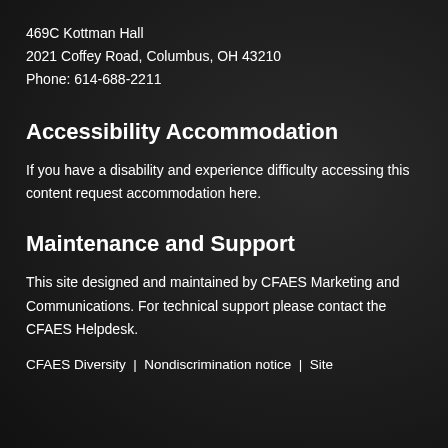469C Kottman Hall
2021 Coffey Road, Columbus, OH 43210
Phone: 614-688-2211
Accessibility Accommodation
If you have a disability and experience difficulty accessing this content request accommodation here.
Maintenance and Support
This site designed and maintained by CFAES Marketing and Communications. For technical support please contact the CFAES Helpdesk.
CFAES Diversity  |  Nondiscrimination notice  |  Site